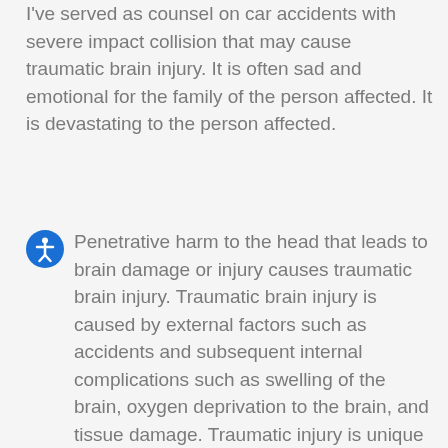I've served as counsel on car accidents with severe impact collision that may cause traumatic brain injury. It is often sad and emotional for the family of the person affected. It is devastating to the person affected.
Penetrative harm to the head that leads to brain damage or injury causes traumatic brain injury. Traumatic brain injury is caused by external factors such as accidents and subsequent internal complications such as swelling of the brain, oxygen deprivation to the brain, and tissue damage. Traumatic injury is unique to the environmental,